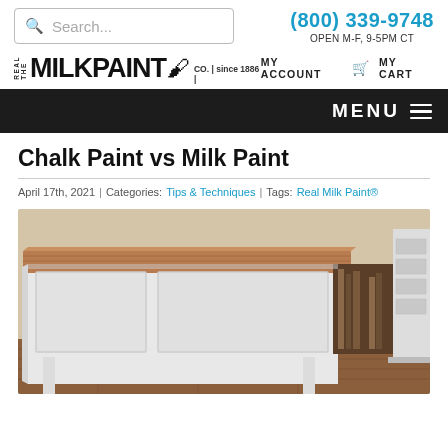Search... | (800) 339-9748 | OPEN M-F, 9-5PM CT
[Figure (logo): Real Milk Paint Co. logo with stylized brush icon]
MY ACCOUNT  MY CART
MENU
Chalk Paint vs Milk Paint
April 17th, 2021 | Categories: Tips & Techniques | Tags: Real Milk Paint®
[Figure (photo): A white painted wooden desk/cabinet with a natural wood butcher block top, shown in a room setting on hardwood floors.]